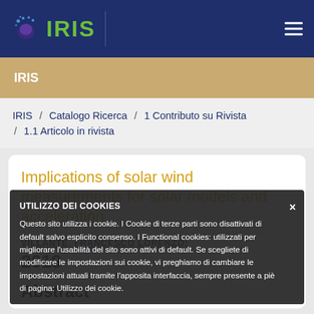[Figure (logo): IRIS logo with brain/dots icon and green text on dark navy background, with hamburger menu icon]
IRIS
IRIS / Catalogo Ricerca / 1 Contributo su Rivista / 1.1 Articolo in rivista
Implications of solar wind measurements for solar models and acceleration
VILLANTE, FRANCESCO LORENZO;
2019
Abstract
UTILIZZO DEI COOKIES
Questo sito utilizza i cookie. I Cookie di terze parti sono disattivati di default salvo esplicito consenso. I Functional cookies: utilizzati per migliorare l'usabilità del sito sono attivi di default. Se scegliete di modificare le impostazioni sui cookie, vi preghiamo di cambiare le impostazioni attuali tramite l'apposita interfaccia, sempre presente a piè di pagina: Utilizzo dei cookie.